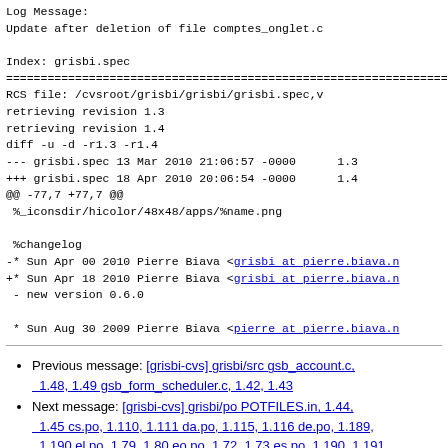Log Message:
Update after deletion of file comptes_onglet.c
Index: grisbi.spec
================================================================
RCS file: /cvsroot/grisbi/grisbi/grisbi.spec,v
retrieving revision 1.3
retrieving revision 1.4
diff -u -d -r1.3 -r1.4
--- grisbi.spec 13 Mar 2010 21:06:57 -0000      1.3
+++ grisbi.spec 18 Apr 2010 20:06:54 -0000      1.4
@@ -77,7 +77,7 @@
 %_iconsdir/hicolor/48x48/apps/%name.png

 %changelog
-* Sun Apr 00 2010 Pierre Biava <grisbi at pierre.biava.n
+* Sun Apr 18 2010 Pierre Biava <grisbi at pierre.biava.n
 - new version 0.6.0

 * Sun Aug 30 2009 Pierre Biava <pierre at pierre.biava.n
Previous message: [grisbi-cvs] grisbi/src gsb_account.c, 1.48, 1.49 gsb_form_scheduler.c, 1.42, 1.43
Next message: [grisbi-cvs] grisbi/po POTFILES.in, 1.44, 1.45 cs.po, 1.110, 1.111 da.po, 1.115, 1.116 de.po, 1.189, 1.190 el.po, 1.79, 1.80 eo.po, 1.72, 1.73 es.po, 1.190, 1.191 fa.po, 1.102, 1.103 fr.po, 1.248, 1.249 grisbi.pot, 1.150,